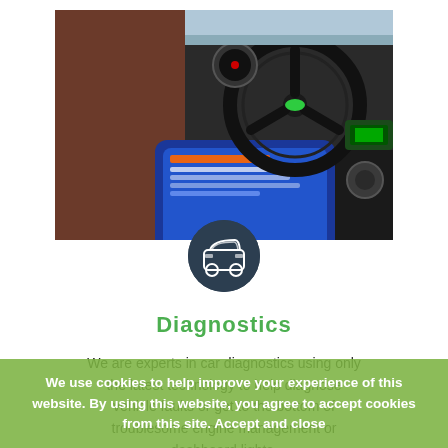[Figure (photo): A person holding a blue diagnostic tablet/device inside a Land Rover vehicle, with the steering wheel and dashboard visible in the background.]
[Figure (illustration): Dark circular icon with a white car silhouette outline (front view of a sedan).]
Diagnostics
We are experts in car diagnostics using only the latest technology to help diagnose vehicle faults or get to the bottom of troublesome engine management or dashboard lights.
We use cookies to help improve your experience of this website. By using this website, you agree to accept cookies from this site. Accept and close